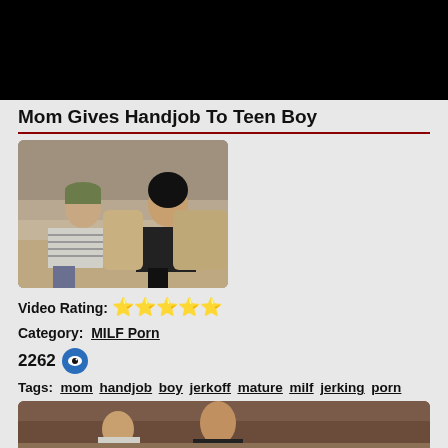[Figure (photo): Black video player area at top of page]
Mom Gives Handjob To Teen Boy
[Figure (photo): Thumbnail showing two people sitting on a couch]
Video Rating: ⭐⭐⭐⭐⭐
Category:  MILF Porn
2262 👁
Tags:  mom  handjob  boy  jerkoff  mature  milf  jerking  porn
[Figure (photo): Bottom thumbnail showing people on couch, partially visible]